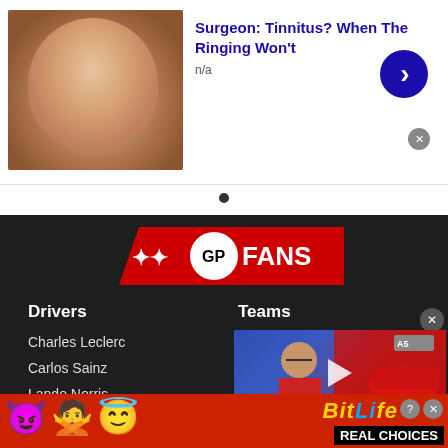[Figure (screenshot): Advertisement banner: photo of a person on left, title 'Surgeon: Tinnitus? When The Ringing Won't' in blue bold text, 'n/a' subtitle, blue circular arrow button on right, grey close X button]
[Figure (logo): GP FANS logo: racing flag checkered icon, white 'GP' text in black circle, 'FANS' in white text, on red diagonal banner]
Drivers
Teams
Charles Leclerc
Carlos Sainz
Lando Norris
Daniel Ricciardo
[Figure (screenshot): Ferrari video thumbnail showing a man in red Ferrari jacket with glasses, red F1 car on right, play button in center, caption 'FERRARI RESPOND TO' at bottom]
[Figure (screenshot): BitLife advertisement: red background with devil emoji, woman emoji, angel emoji, sperm emoji, 'BitLife' text in gold/blue, 'REAL CHOICES' in white on black banner, close and question mark buttons]